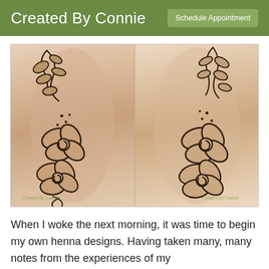Created By Connie | Schedule Appointment
[Figure (photo): Two side-by-side photos of a person's arm decorated with henna tattoo designs featuring large flowers with spiral centers and leaf/vine motifs. The background shows a henna studio with framed artwork and decorations. Both photos show the same arm from slightly different angles. Watermarks read 'Created By Connie'.]
When I woke the next morning, it was time to begin my own henna designs. Having taken many, many notes from the experiences of my